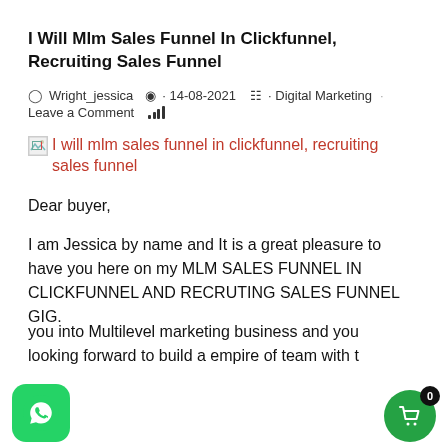I Will Mlm Sales Funnel In Clickfunnel, Recruiting Sales Funnel
Wright_jessica · 14-08-2021 · Digital Marketing · Leave a Comment
[Figure (illustration): Broken image placeholder followed by orange/red link text: I will mlm sales funnel in clickfunnel, recruiting sales funnel]
Dear buyer,
I am Jessica by name and It is a great pleasure to have you here on my MLM SALES FUNNEL IN CLICKFUNNEL AND RECRUTING SALES FUNNEL GIG.
...you into Multilevel marketing business and you looking forward to build a empire of team with the same interest with yours?
[Figure (logo): WhatsApp green button icon bottom left and green cart button with badge 0 bottom right]